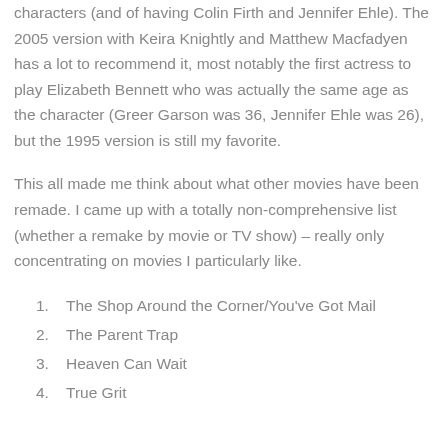characters (and of having Colin Firth and Jennifer Ehle). The 2005 version with Keira Knightly and Matthew Macfadyen has a lot to recommend it, most notably the first actress to play Elizabeth Bennett who was actually the same age as the character (Greer Garson was 36, Jennifer Ehle was 26), but the 1995 version is still my favorite.
This all made me think about what other movies have been remade. I came up with a totally non-comprehensive list (whether a remake by movie or TV show) – really only concentrating on movies I particularly like.
The Shop Around the Corner/You've Got Mail
The Parent Trap
Heaven Can Wait
True Grit